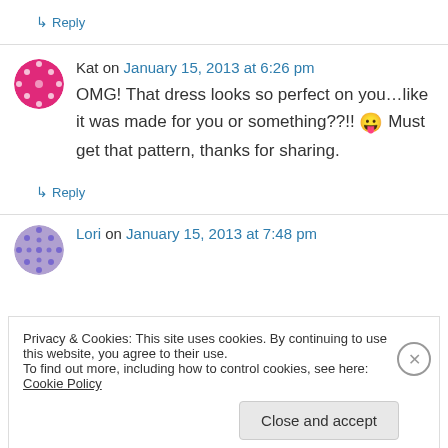↳ Reply
Kat on January 15, 2013 at 6:26 pm
OMG! That dress looks so perfect on you…like it was made for you or something??!! 😛 Must get that pattern, thanks for sharing.
↳ Reply
Lori on January 15, 2013 at 7:48 pm
Privacy & Cookies: This site uses cookies. By continuing to use this website, you agree to their use.
To find out more, including how to control cookies, see here: Cookie Policy
Close and accept